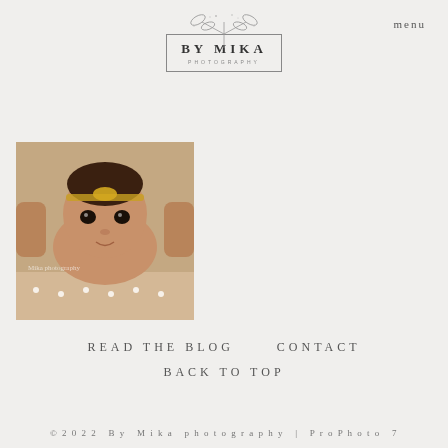[Figure (logo): By Mika Photography logo with botanical leaf illustration above a bordered rectangle containing the text BY MIKA PHOTOGRAPHY]
menu
[Figure (photo): Newborn baby with a gold headband, looking at the camera, being held by adult hands, lying on a beige knit blanket with pearls. Watermark reads 'Mika photography'.]
READ THE BLOG      CONTACT
BACK TO TOP
© 2022 By Mika photography | ProPhoto 7